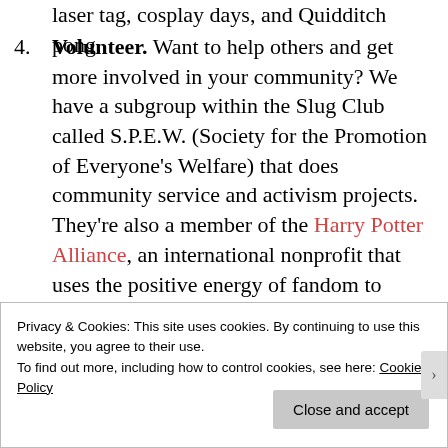laser tag, cosplay days, and Quidditch pong.
4. Volunteer. Want to help others and get more involved in your community? We have a subgroup within the Slug Club called S.P.E.W. (Society for the Promotion of Everyone's Welfare) that does community service and activism projects. They're also a member of the Harry Potter Alliance, an international nonprofit that uses the positive energy of fandom to create social change.
Privacy & Cookies: This site uses cookies. By continuing to use this website, you agree to their use.
To find out more, including how to control cookies, see here: Cookie Policy